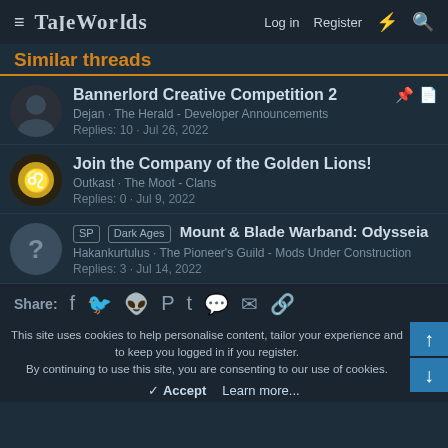TaleWorlds  Log in  Register
Similar threads
Bannerlord Creative Competition 2 · Dejan · The Herald - Developer Announcements · Replies: 10 · Jul 26, 2022
Join the Company of the Golden Lions! · Outkast · The Moot - Clans · Replies: 0 · Jul 9, 2022
SP Dark Ages Mount & Blade Warband: Odysseia · Hakankurtulus · The Pioneer's Guild - Mods Under Construction · Replies: 3 · Jul 14, 2022
Share:
This site uses cookies to help personalise content, tailor your experience and to keep you logged in if you register. By continuing to use this site, you are consenting to our use of cookies.
✓ Accept  Learn more...